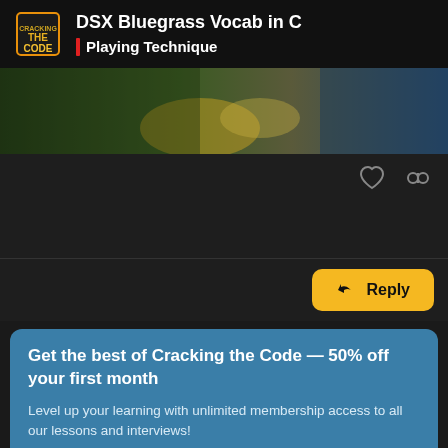DSX Bluegrass Vocab in C | Playing Technique
[Figure (photo): Partial video thumbnail showing hands playing a stringed instrument outdoors on grass]
Reply
Get the best of Cracking the Code — 50% off your first month
Level up your learning with unlimited membership access to all our lessons and interviews!